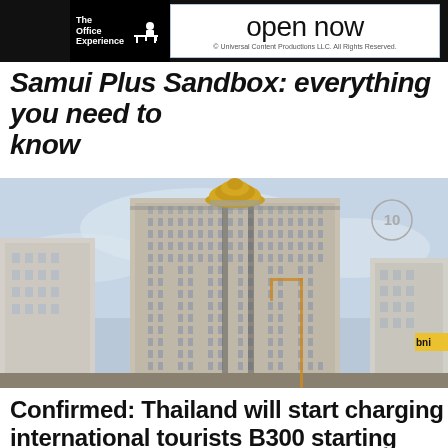The Office Experience open now © Universal Content Productions LLC. All Rights Reserved.
Samui Plus Sandbox: everything you need to know
[Figure (photo): Tall skyscraper building with golden dome on top against a partly cloudy sky, with other buildings visible on both sides. A circular badge with '10' appears in the upper right corner of the image.]
Confirmed: Thailand will start charging international tourists B300 starting April